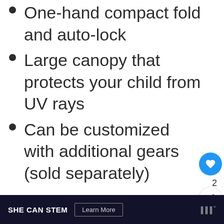One-hand compact fold and auto-lock
Large canopy that protects your child from UV rays
Can be customized with additional gears (sold separately)
SHE CAN STEM  Learn More